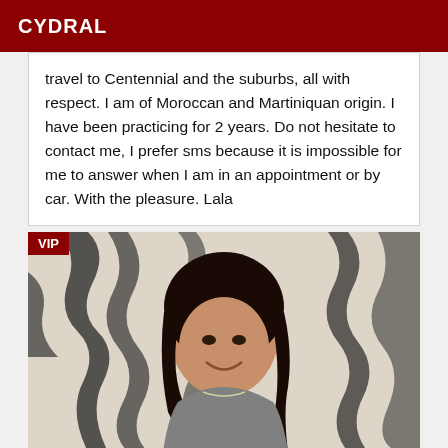CYDRAL
travel to Centennial and the suburbs, all with respect. I am of Moroccan and Martiniquan origin. I have been practicing for 2 years. Do not hesitate to contact me, I prefer sms because it is impossible for me to answer when I am in an appointment or by car. With the pleasure. Lala
[Figure (photo): Portrait photo of a woman with dark hair smiling, wearing a grey top and necklace, with a zebra-print background. VIP badge in top-left corner.]